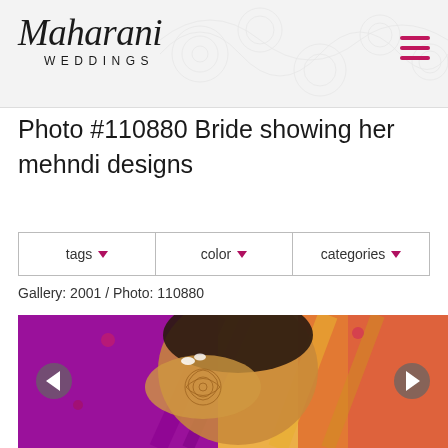Maharani Weddings
Photo #110880 Bride showing her mehndi designs
tags ▼   color ▼   categories ▼
Gallery: 2001 / Photo: 110880
[Figure (photo): Close-up photo of a bride showing her mehndi (henna) designs on her hands near her face, with colorful pink, purple and gold background]